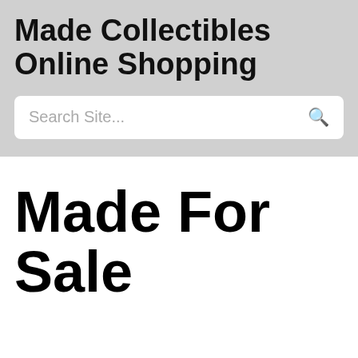Made Collectibles Online Shopping
Search Site...
Made For Sale